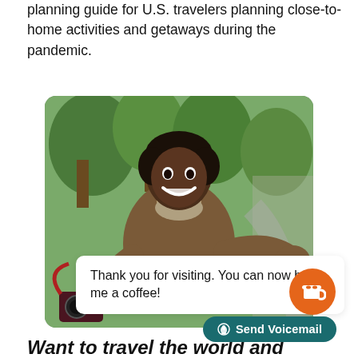planning guide for U.S. travelers planning close-to-home activities and getaways during the pandemic.
[Figure (photo): Woman smiling and holding a camera outdoors, gesturing with one hand, with greenery and a path in the background.]
Thank you for visiting. You can now buy me a coffee!
Send Voicemail
Want to travel the world and